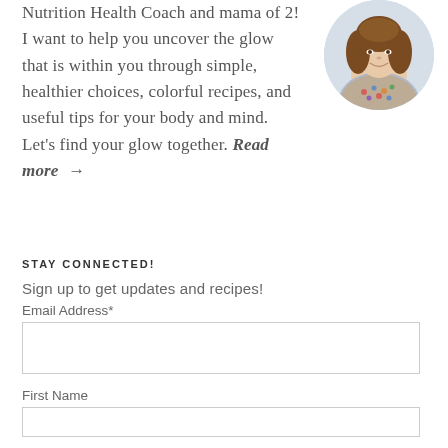Nutrition Health Coach and mama of 2! I want to help you uncover the glow that is within you through simple, healthier choices, colorful recipes, and useful tips for your body and mind. Let’s find your glow together. Read more →
[Figure (photo): Circular portrait photo of a smiling woman with long brown hair wearing a colorful patterned top]
STAY CONNECTED!
Sign up to get updates and recipes!
Email Address*
First Name